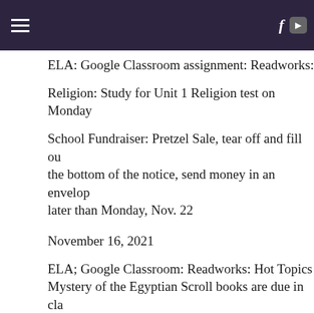Navigation bar with hamburger menu, Facebook and YouTube icons
ELA: Google Classroom assignment: Readworks:
Religion: Study for Unit 1 Religion test on Monday
School Fundraiser: Pretzel Sale, tear off and fill out the bottom of the notice, send money in an envelope no later than Monday, Nov. 22
November 16, 2021
ELA; Google Classroom: Readworks: Hot Topics Mystery of the Egyptian Scroll books are due in class. Reading Comprehension test Thursday and Friday.
Religion:  Study for Unit 1 test on Monday, 11/23